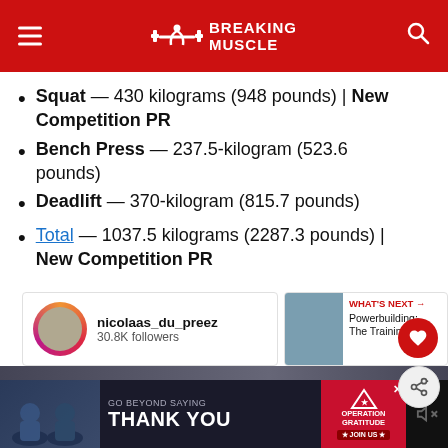Breaking Muscle
Squat — 430 kilograms (948 pounds) | New Competition PR
Bench Press — 237.5-kilogram (523.6 pounds)
Deadlift — 370-kilogram (815.7 pounds)
Total — 1037.5 kilograms (2287.3 pounds) | New Competition PR
[Figure (screenshot): Instagram embed for nicolaas_du_preez with 30.8K followers]
[Figure (screenshot): What's Next panel: Powerbuilding: The Training...]
[Figure (screenshot): Advertisement banner: Go Beyond Saying Thank You - Operation Gratitude]